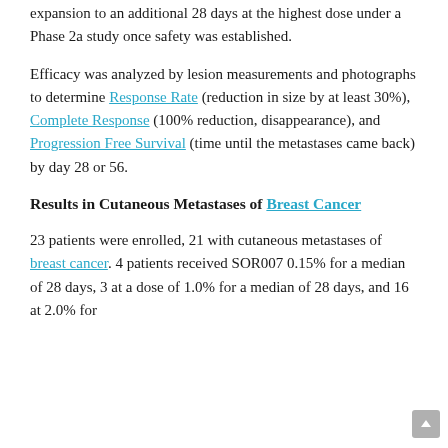expansion to an additional 28 days at the highest dose under a Phase 2a study once safety was established.
Efficacy was analyzed by lesion measurements and photographs to determine Response Rate (reduction in size by at least 30%), Complete Response (100% reduction, disappearance), and Progression Free Survival (time until the metastases came back) by day 28 or 56.
Results in Cutaneous Metastases of Breast Cancer
23 patients were enrolled, 21 with cutaneous metastases of breast cancer. 4 patients received SOR007 0.15% for a median of 28 days, 3 at a dose of 1.0% for a median of 28 days, and 16 at 2.0% for